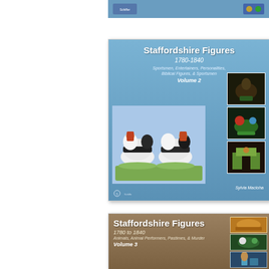[Figure (photo): Partial view of top book cover - Schiffer publisher logo visible on blue background]
[Figure (photo): Book cover: Staffordshire Figures 1780-1840, Sportsmen, Entertainers, Personalities, Biblical Figures & Sportsmen, Volume 2 by Sylvia Maroske. Blue background with ceramic horse figures and smaller inset images. Schiffer publisher logo.]
[Figure (photo): Book cover: Staffordshire Figures 1780 to 1840, Animals, Animal Performers, Pastimes, & Murder, Volume 3. Brown/tan background with colorful ceramic elephant display piece and inset images.]